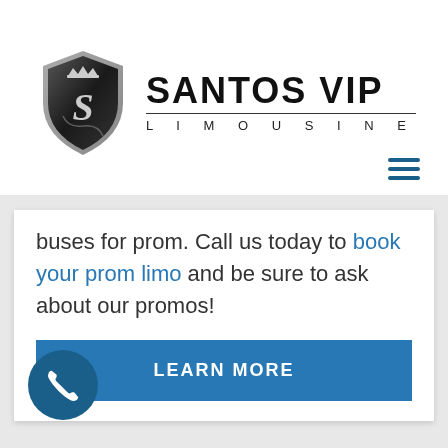[Figure (logo): Santos VIP Limousine logo with a black shield containing a stylized S and crown, next to bold text SANTOS VIP with LIMOUSINE below in spaced letters]
buses for prom. Call us today to book your prom limo and be sure to ask about our promos!
LEARN MORE
[Figure (other): Blue circular phone icon button at bottom left]